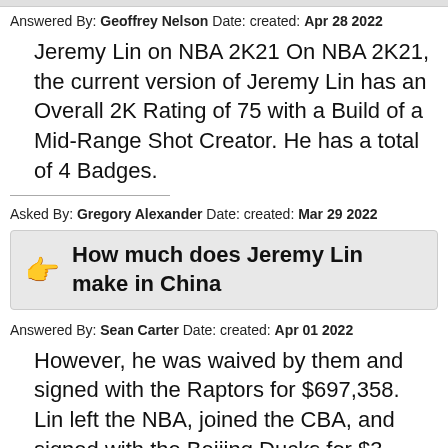Answered By: Geoffrey Nelson Date: created: Apr 28 2022
Jeremy Lin on NBA 2K21 On NBA 2K21, the current version of Jeremy Lin has an Overall 2K Rating of 75 with a Build of a Mid-Range Shot Creator. He has a total of 4 Badges.
Asked By: Gregory Alexander Date: created: Mar 29 2022
How much does Jeremy Lin make in China
Answered By: Sean Carter Date: created: Apr 01 2022
However, he was waived by them and signed with the Raptors for $697,358. Lin left the NBA, joined the CBA, and signed with the Beijing Ducks for $3 million a year. He still represents the